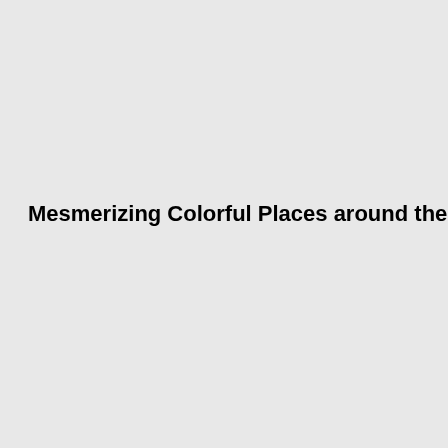Mesmerizing Colorful Places around the World